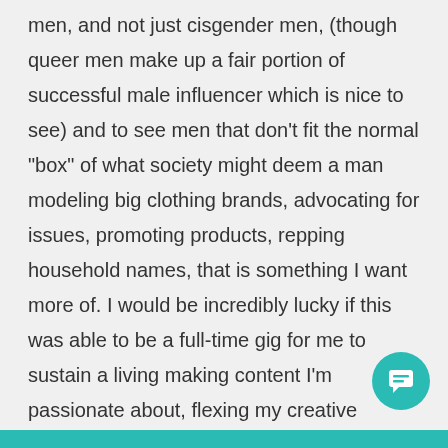men, and not just cisgender men, (though queer men make up a fair portion of successful male influencer which is nice to see) and to see men that don't fit the normal "box" of what society might deem a man modeling big clothing brands, advocating for issues, promoting products, repping household names, that is something I want more of. I would be incredibly lucky if this was able to be a full-time gig for me to sustain a living making content I'm passionate about, flexing my creative muscles, and giving my mostly LGBTQ+ audience things to consume that they also enjoy and benefit from – and for brands to realize that is a mostly untapped audience that should be accounted for
[Figure (other): Teal circular chat button icon in the bottom-right corner]